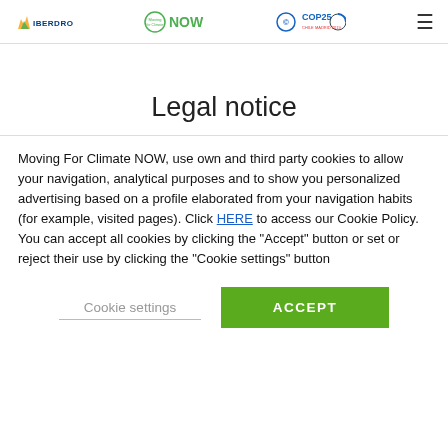Iberdrola / Moving For Climate NOW / COP25 logos and navigation
Legal notice
Moving For Climate NOW, use own and third party cookies to allow your navigation, analytical purposes and to show you personalized advertising based on a profile elaborated from your navigation habits (for example, visited pages). Click HERE to access our Cookie Policy. You can accept all cookies by clicking the "Accept" button or set or reject their use by clicking the "Cookie settings" button